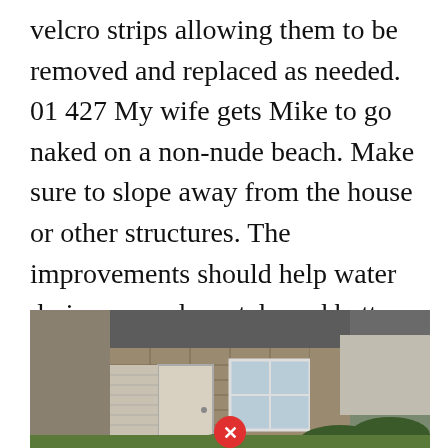velcro strips allowing them to be removed and replaced as needed. 01 427 My wife gets Mike to go naked on a non-nude beach. Make sure to slope away from the house or other structures. The improvements should help water drain more adequately and better prevent erosion. Tripped over its duty to fix the citys broken sidewalks.
[Figure (photo): Exterior photo of a house showing the front entrance area with a stone veneer facade, white door, white-framed window, siding, shrubs, and a neighboring house visible in the background. A red circle with a white X close button is overlaid at the bottom center of the image.]